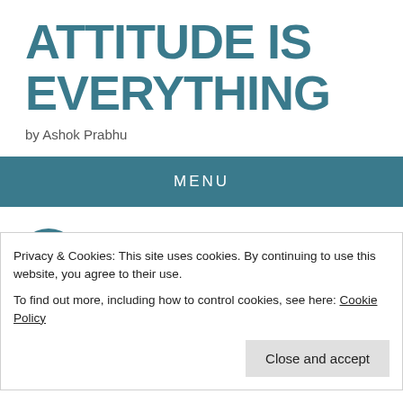ATTITUDE IS EVERYTHING
by Ashok Prabhu
MENU
7 OCT 2016
Using Google Maps to Improve Safety on Roads
Privacy & Cookies: This site uses cookies. By continuing to use this website, you agree to their use. To find out more, including how to control cookies, see here: Cookie Policy